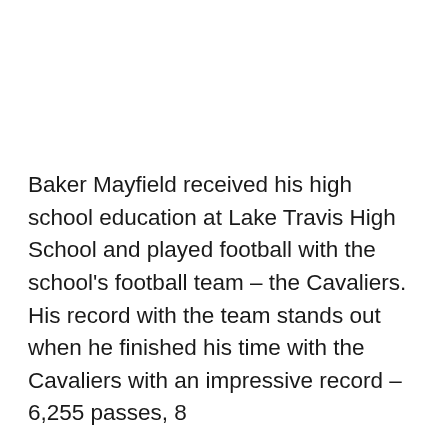Baker Mayfield received his high school education at Lake Travis High School and played football with the school's football team – the Cavaliers. His record with the team stands out when he finished his time with the Cavaliers with an impressive record – 6,255 passes, 8